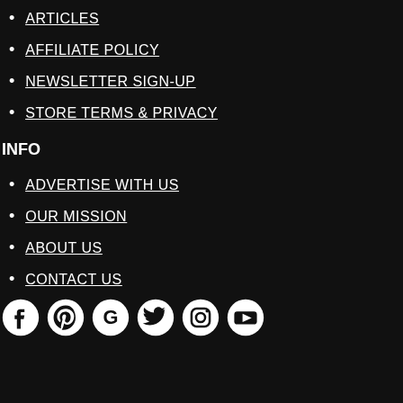ARTICLES
AFFILIATE POLICY
NEWSLETTER SIGN-UP
STORE TERMS & PRIVACY
INFO
ADVERTISE WITH US
OUR MISSION
ABOUT US
CONTACT US
[Figure (infographic): Social media icons row: Facebook, Pinterest, Google, Twitter, Instagram, YouTube]